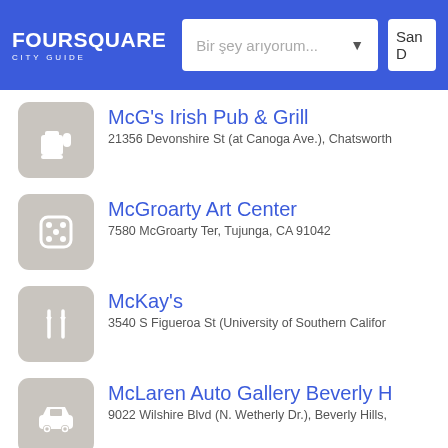FOURSQUARE CITY GUIDE — Bir şey arıyorum... — San D
McG's Irish Pub & Grill
21356 Devonshire St (at Canoga Ave.), Chatsworth
McGroarty Art Center
7580 McGroarty Ter, Tujunga, CA 91042
McKay's
3540 S Figueroa St (University of Southern Califor
McLaren Auto Gallery Beverly H
9022 Wilshire Blvd (N. Wetherly Dr.), Beverly Hills,
Mcmanus and Morgan Paper
2506 7th street, Los Angeles, CA
Meals By Genet